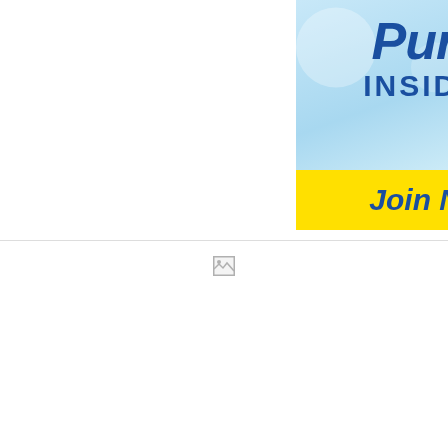[Figure (logo): Purex Insiders advertisement with light blue background, Purex logo in dark blue italic text, INSIDERS text below, and yellow Join NOW! button at bottom]
[Figure (other): Broken image icon placeholder]
[Figure (illustration): I'M AN INSIDER banner with teal/turquoise background, thick black border, purple text reading I'M AN on top line and INSIDER in large text below]